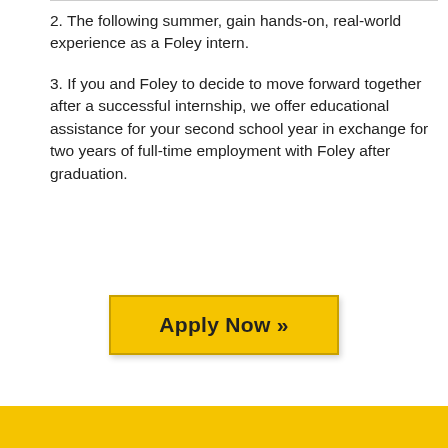2. The following summer, gain hands-on, real-world experience as a Foley intern.
3. If you and Foley to decide to move forward together after a successful internship, we offer educational assistance for your second school year in exchange for two years of full-time employment with Foley after graduation.
[Figure (other): Yellow 'Apply Now »' button with dark border and shadow]